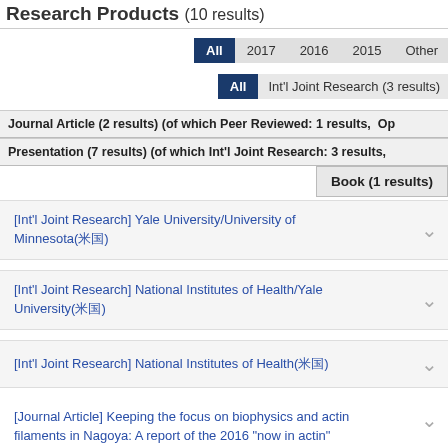Research Products (10 results)
All | 2017 | 2016 | 2015 | Other
All | Int'l Joint Research (3 results)
Journal Article (2 results) (of which Peer Reviewed: 1 results, Op...
Presentation (7 results) (of which Int'l Joint Research: 3 results,
Book (1 results)
[Int'l Joint Research] Yale University/University of Minnesota(米国)
[Int'l Joint Research] National Institutes of Health/Yale University(米国)
[Int'l Joint Research] National Institutes of Health(米国)
[Journal Article] Keeping the focus on biophysics and actin filaments in Nagoya: A report of the 2016 "now in actin"